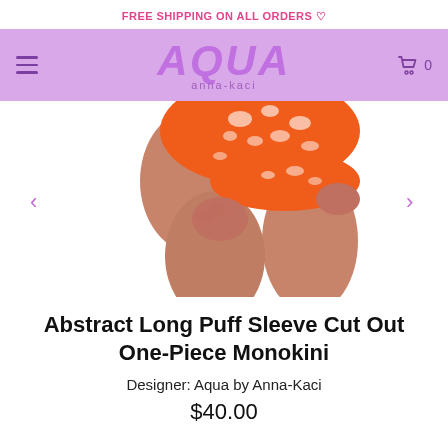FREE SHIPPING ON ALL ORDERS ♡
AQUA anna-kaci
[Figure (photo): Product photo of a woman wearing an orange and white abstract patterned long puff sleeve cut out one-piece monokini, showing the lower torso and legs.]
Abstract Long Puff Sleeve Cut Out One-Piece Monokini
Designer: Aqua by Anna-Kaci
$40.00